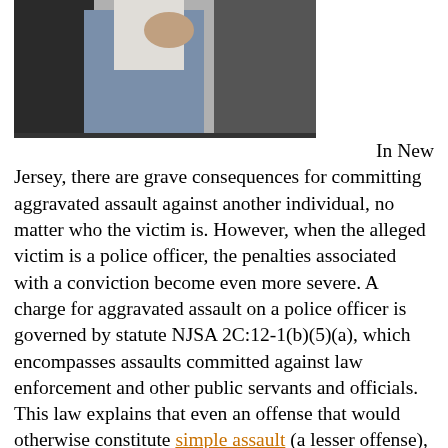[Figure (photo): Photo showing two people, appears to be an altercation scene, partially cropped at top of page]
In New Jersey, there are grave consequences for committing aggravated assault against another individual, no matter who the victim is. However, when the alleged victim is a police officer, the penalties associated with a conviction become even more severe. A charge for aggravated assault on a police officer is governed by statute NJSA 2C:12-1(b)(5)(a), which encompasses assaults committed against law enforcement and other public servants and officials. This law explains that even an offense that would otherwise constitute simple assault (a lesser offense), it is elevated to aggravated assault (an indictable crime), when the alleged victim is a police officer. In other words, being charged with assault on a police officer means you are accused of committing a felony in New Jersey, which carries very significant